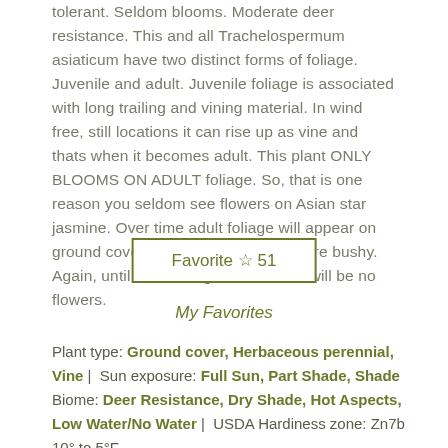tolerant. Seldom blooms. Moderate deer resistance. This and all Trachelospermum asiaticum have two distinct forms of foliage. Juvenile and adult. Juvenile foliage is associated with long trailing and vining material. In wind free, still locations it can rise up as vine and thats when it becomes adult. This plant ONLY BLOOMS ON ADULT foliage. So, that is one reason you seldom see flowers on Asian star jasmine. Over time adult foliage will appear on ground covers. Its less vining and more bushy. Again, until adult foliage forms there will be no flowers.
[Figure (other): Favorite button with star icon and count 51]
My Favorites
Plant type: Ground cover, Herbaceous perennial, Vine |  Sun exposure: Full Sun, Part Shade, Shade Biome: Deer Resistance, Dry Shade, Hot Aspects, Low Water/No Water |  USDA Hardiness zone: Zn7b 10° to 5°F Foliage color: Gray-green, Variegated |  Foliage